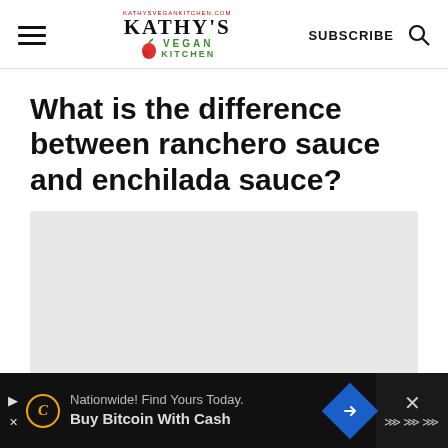Kathy's Vegan Kitchen — SUBSCRIBE
What is the difference between ranchero sauce and enchilada sauce?
[Figure (other): Grey placeholder image area below the article title]
[Figure (other): Advertisement banner at the bottom: Nationwide! Find Yours Today. Buy Bitcoin With Cash]